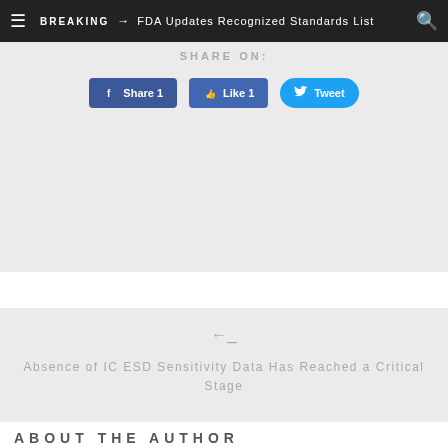BREAKING → FDA Updates Recognized Standards List
SHARE ON:
[Figure (screenshot): Social media share buttons: Facebook Share 1, Facebook Like 1, Twitter Tweet]
← Absence of IC ESD Sensitivity Data Has Reached a Critical Stage
→ How to Get The Resources You Need
ABOUT THE AUTHOR